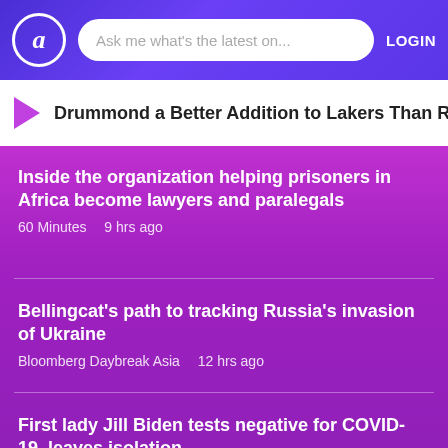a | Ask me what's the latest on... | LOGIN
Drummond a Better Addition to Lakers Than Rondo to
Inside the organization helping prisoners in Africa become lawyers and paralegals
60 Minutes  9 hrs ago
Bellingcat's path to tracking Russia's invasion of Ukraine
Bloomberg Daybreak Asia  12 hrs ago
First lady Jill Biden tests negative for COVID-19, leaves isolation
WTOP 24 Hour News  12 hrs ago